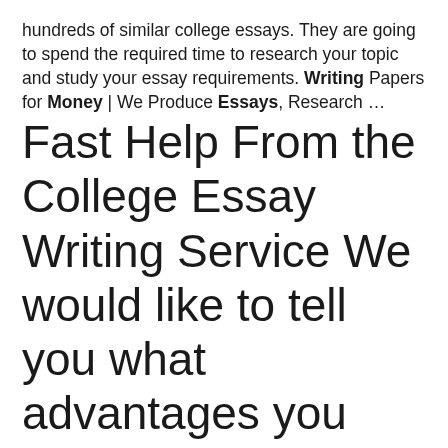hundreds of similar college essays. They are going to spend the required time to research your topic and study your essay requirements. Writing Papers for Money | We Produce Essays, Research ...
Fast Help From the College Essay Writing Service We would like to tell you what advantages you can gain if you ask us, "write my college essay." This is a writing service that has a good reputation, and we are here to prove to you that we are the best choice